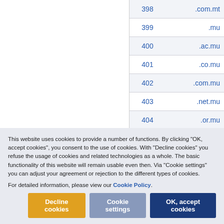|  |  |
| --- | --- |
| 398 | .com.mt |
| 399 | .mu |
| 400 | .ac.mu |
| 401 | .co.mu |
| 402 | .com.mu |
| 403 | .net.mu |
| 404 | .or.mu |
| 405 | .org.mu |
| 406 | .museum |
This website uses cookies to provide a number of functions. By clicking "OK, accept cookies", you consent to the use of cookies. With "Decline cookies" you refuse the usage of cookies and related technologies as a whole. The basic functionality of this website will remain usable even then. Via "Cookie settings" you can adjust your agreement or rejection to the different types of cookies.
For detailed information, please view our Cookie Policy.